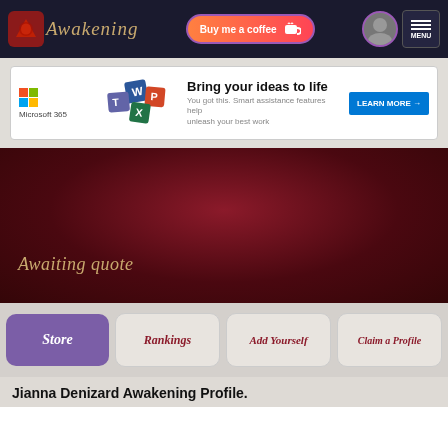Awakening — Buy me a coffee — MENU
[Figure (screenshot): Microsoft 365 advertisement banner with app icons and 'Bring your ideas to life' text with LEARN MORE button]
Awaiting quote
Store | Rankings | Add Yourself | Claim a Profile
Jianna Denizard Awakening Profile.